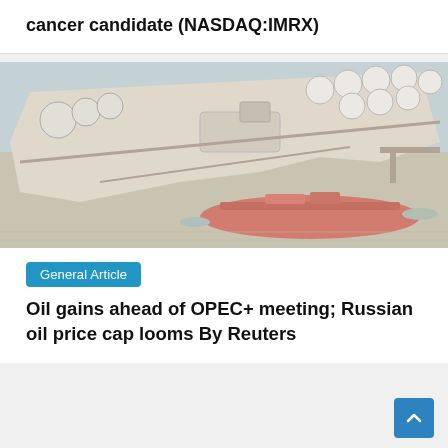cancer candidate (NASDAQ:IMRX)
[Figure (photo): Aerial view of an oil storage terminal with large white storage tanks and a red oil tanker ship docked at the port on a river.]
General Article
Oil gains ahead of OPEC+ meeting; Russian oil price cap looms By Reuters